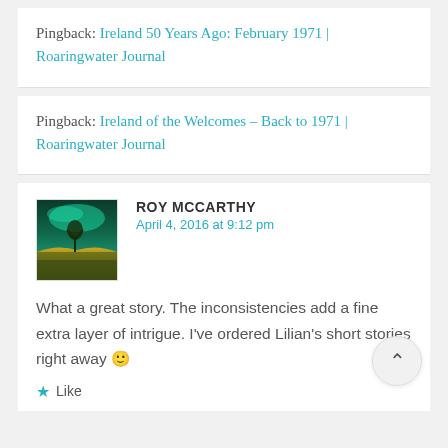Pingback: Ireland 50 Years Ago: February 1971 | Roaringwater Journal
Pingback: Ireland of the Welcomes – Back to 1971 | Roaringwater Journal
ROY MCCARTHY
April 4, 2016 at 9:12 pm
[Figure (photo): Avatar photo showing a landscape with aurora or dramatic sky in teal and green tones over a yellow field with a lone tree]
What a great story. The inconsistencies add a fine extra layer of intrigue. I've ordered Lilian's short stories right away 🙂
Like